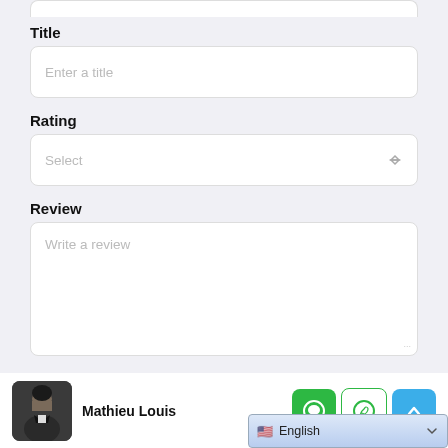[Figure (screenshot): Partial input field at top of page, cut off]
Title
[Figure (screenshot): Text input field with placeholder 'Enter a title']
Rating
[Figure (screenshot): Select dropdown field with placeholder 'Select']
Review
[Figure (screenshot): Textarea with placeholder 'Write a review']
Mathieu Louis
[Figure (screenshot): Bottom bar with avatar photo of Mathieu Louis, chat buttons (green, white, blue), and English language selector]